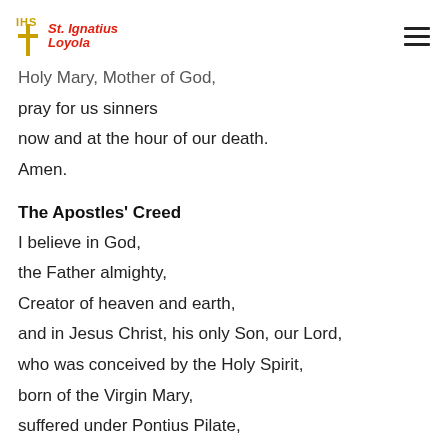St. Ignatius Loyola
Holy Mary, Mother of God,
pray for us sinners
now and at the hour of our death.
Amen.
The Apostles' Creed
I believe in God,
the Father almighty,
Creator of heaven and earth,
and in Jesus Christ, his only Son, our Lord,
who was conceived by the Holy Spirit,
born of the Virgin Mary,
suffered under Pontius Pilate,
was crucified, died and was buried;
he descended into hell;